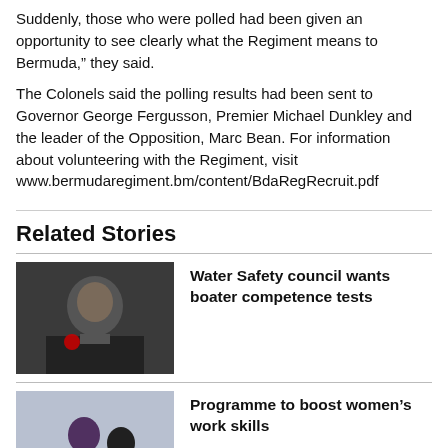Suddenly, those who were polled had been given an opportunity to see clearly what the Regiment means to Bermuda," they said.
The Colonels said the polling results had been sent to Governor George Fergusson, Premier Michael Dunkley and the leader of the Opposition, Marc Bean. For information about volunteering with the Regiment, visit www.bermudaregiment.bm/content/BdaRegRecruit.pdf
Related Stories
Water Safety council wants boater competence tests
[Figure (photo): Man speaking at podium with red microphone]
Programme to boost women’s work skills
[Figure (photo): Two women standing together]
Bermudian journalism pioneer Ernest Tucker to be inducted into CBC Hall of
[Figure (photo): Black and white photo of person]